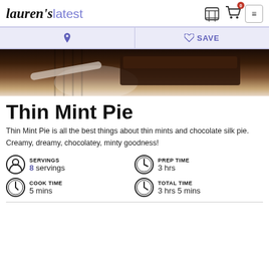lauren's latest | 0 cart | menu
[Figure (other): Action bar with Pinterest icon and Save button on lavender background]
[Figure (photo): Close-up photo of a chocolate thin mint pie slice on a white plate with a fork]
Thin Mint Pie
Thin Mint Pie is all the best things about thin mints and chocolate silk pie. Creamy, dreamy, chocolatey, minty goodness!
SERVINGS
8 servings
COOK TIME
5 mins
PREP TIME
3 hrs
TOTAL TIME
3 hrs 5 mins